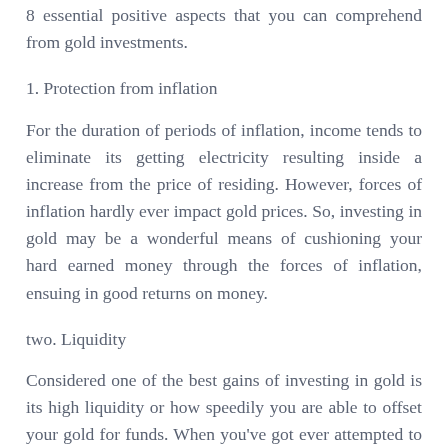8 essential positive aspects that you can comprehend from gold investments.
1. Protection from inflation
For the duration of periods of inflation, income tends to eliminate its getting electricity resulting inside a increase from the price of residing. However, forces of inflation hardly ever impact gold prices. So, investing in gold may be a wonderful means of cushioning your hard earned money through the forces of inflation, ensuing in good returns on money.
two. Liquidity
Considered one of the best gains of investing in gold is its high liquidity or how speedily you are able to offset your gold for funds. When you've got ever attempted to acquire rapid cash out of your property or car or truck